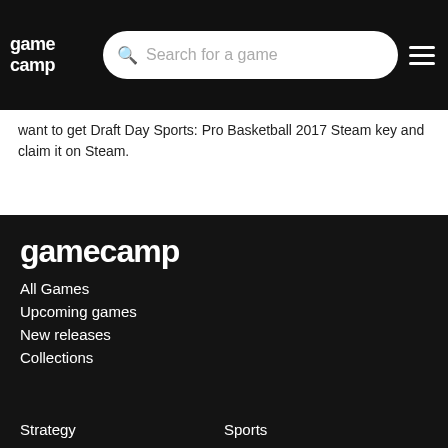gamecamp — Search for a game — menu
want to get Draft Day Sports: Pro Basketball 2017 Steam key and claim it on Steam.
[Figure (logo): gamecamp logo in white on dark background, large text]
All Games
Upcoming games
New releases
Collections
Strategy
Sports